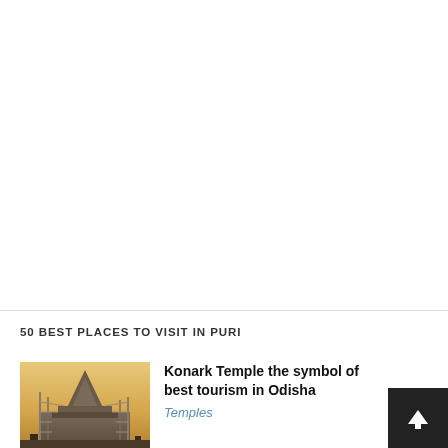50 BEST PLACES TO VISIT IN PURI
[Figure (photo): Photo of Konark Temple at dusk, showing stone architecture with construction scaffolding]
Konark Temple the symbol of best tourism in Odisha
Temples